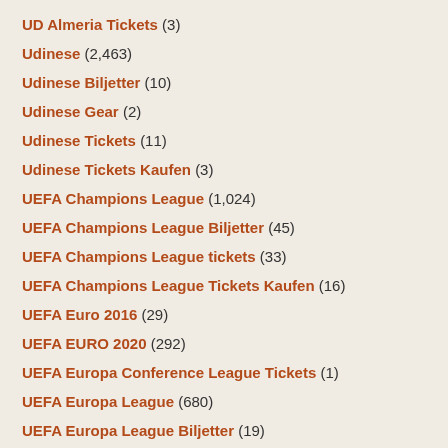UD Almeria Tickets (3)
Udinese (2,463)
Udinese Biljetter (10)
Udinese Gear (2)
Udinese Tickets (11)
Udinese Tickets Kaufen (3)
UEFA Champions League (1,024)
UEFA Champions League Biljetter (45)
UEFA Champions League tickets (33)
UEFA Champions League Tickets Kaufen (16)
UEFA Euro 2016 (29)
UEFA EURO 2020 (292)
UEFA Europa Conference League Tickets (1)
UEFA Europa League (680)
UEFA Europa League Biljetter (19)